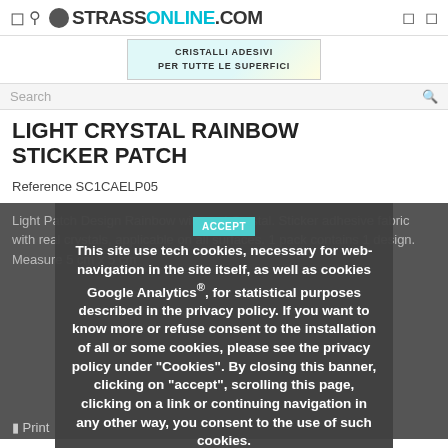STRASSONLINE.COM
[Figure (illustration): Banner advertisement with text CRISTALLI ADESIVI PER TUTTE LE SUPERFICI with colorful graphics]
Search
LIGHT CRYSTAL RAINBOW STICKER PATCH
Reference SC1CAELP05
Light Patch Design Rainbow with real Crystal. Sticker adhesive fabric with real crystals, applicable on all surfaces. 1 pack contains 1 design. Measure 5 cm x 5 cm
This site use tech cookies, necessary for web-navigation in the site itself, as well as cookies Google Analytics®, for statistical purposes described in the privacy policy. If you want to know more or refuse consent to the installation of all or some cookies, please see the privacy policy under "Cookies". By closing this banner, clicking on "accept", scrolling this page, clicking on a link or continuing navigation in any other way, you consent to the use of such cookies.
Print